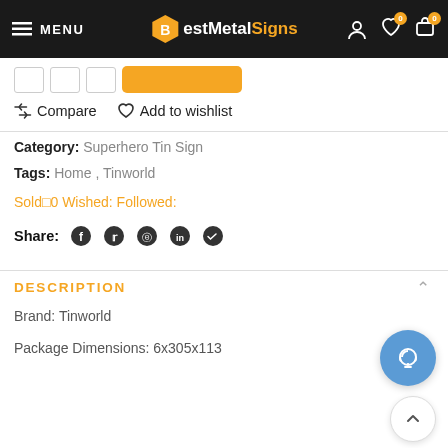MENU | BestMetalSigns
Compare  Add to wishlist
Category: Superhero Tin Sign
Tags: Home, Tinworld
Sold 0 Wished: Followed:
Share:
DESCRIPTION
Brand: Tinworld
Package Dimensions: 6x305x113